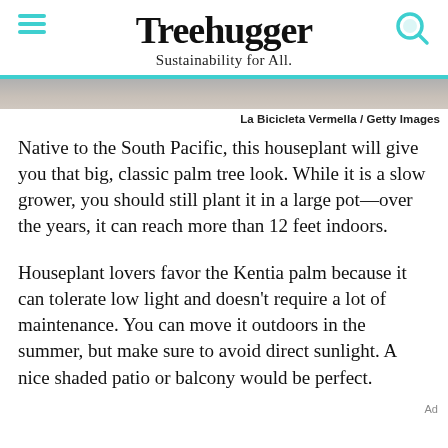Treehugger
Sustainability for All.
[Figure (photo): Cropped photo strip of a plant, blurred background, gray and brown tones]
La Bicicleta Vermella / Getty Images
Native to the South Pacific, this houseplant will give you that big, classic palm tree look. While it is a slow grower, you should still plant it in a large pot—over the years, it can reach more than 12 feet indoors.
Houseplant lovers favor the Kentia palm because it can tolerate low light and doesn't require a lot of maintenance. You can move it outdoors in the summer, but make sure to avoid direct sunlight. A nice shaded patio or balcony would be perfect.
Ad